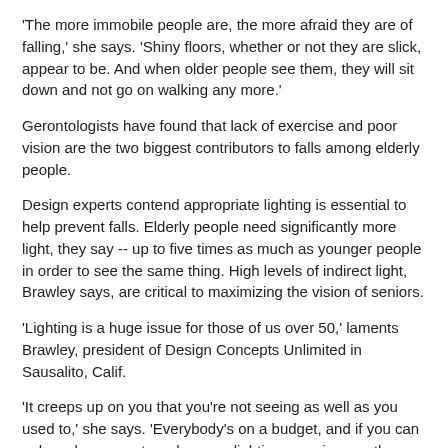'The more immobile people are, the more afraid they are of falling,' she says. 'Shiny floors, whether or not they are slick, appear to be. And when older people see them, they will sit down and not go on walking any more.'
Gerontologists have found that lack of exercise and poor vision are the two biggest contributors to falls among elderly people.
Design experts contend appropriate lighting is essential to help prevent falls. Elderly people need significantly more light, they say -- up to five times as much as younger people in order to see the same thing. High levels of indirect light, Brawley says, are critical to maximizing the vision of seniors.
'Lighting is a huge issue for those of us over 50,' laments Brawley, president of Design Concepts Unlimited in Sausalito, Calif.
'It creeps up on you that you're not seeing as well as you used to,' she says. 'Everybody's on a budget, and if you can only make one or two changes, lighting can give you the biggest bang for your buck. But it really makes sense to work with somebody that understands lighting and understands aging. You can spend an immense amount of money and come out no better. You're just not likely to